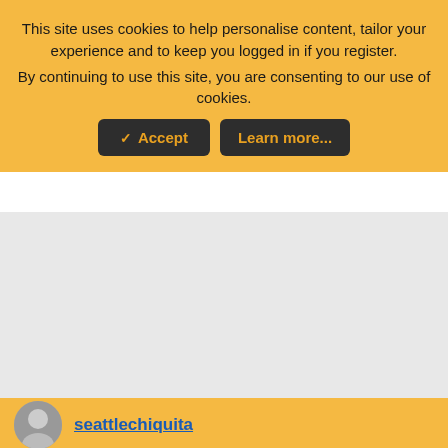This site uses cookies to help personalise content, tailor your experience and to keep you logged in if you register.
By continuing to use this site, you are consenting to our use of cookies.
✓ Accept  Learn more...
[Figure (screenshot): Grey empty content area]
seattlechiquita